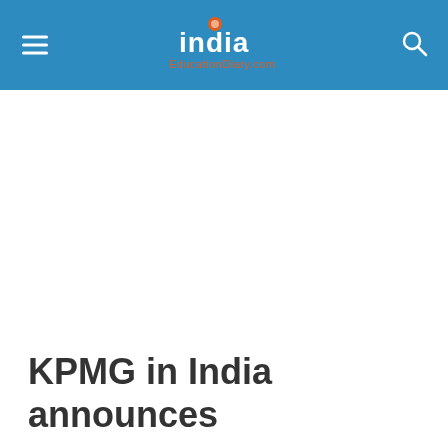India EducationDiary.com
KPMG in India announces